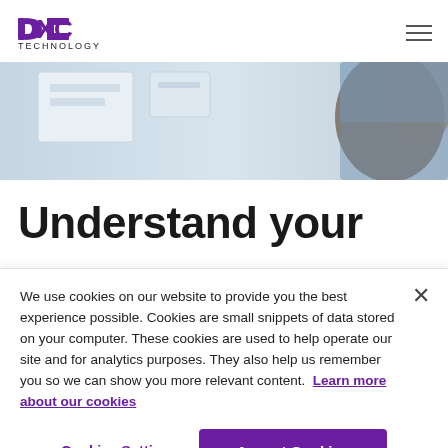DXC Technology
[Figure (photo): Hero image showing a person in a denim jacket working at a whiteboard or panel, partially cropped at the top of the page.]
Understand your
We use cookies on our website to provide you the best experience possible. Cookies are small snippets of data stored on your computer. These cookies are used to help operate our site and for analytics purposes. They also help us remember you so we can show you more relevant content. Learn more about our cookies
Cookies Settings
Accept Cookies